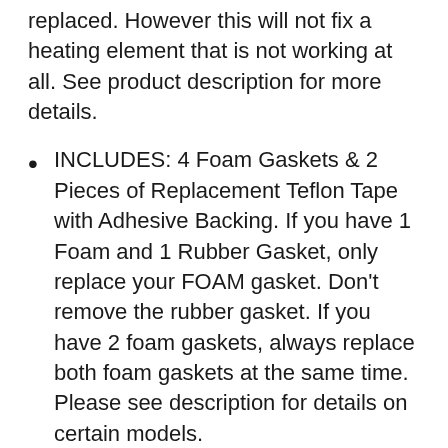replaced. However this will not fix a heating element that is not working at all. See product description for more details.
INCLUDES: 4 Foam Gaskets & 2 Pieces of Replacement Teflon Tape with Adhesive Backing. If you have 1 Foam and 1 Rubber Gasket, only replace your FOAM gasket. Don't remove the rubber gasket. If you have 2 foam gaskets, always replace both foam gaskets at the same time. Please see description for details on certain models.
WORKS WITH: V2200, V2400, V2800, V3000, V3200, V3400, and V3800 Series FoodSaver models. Also works